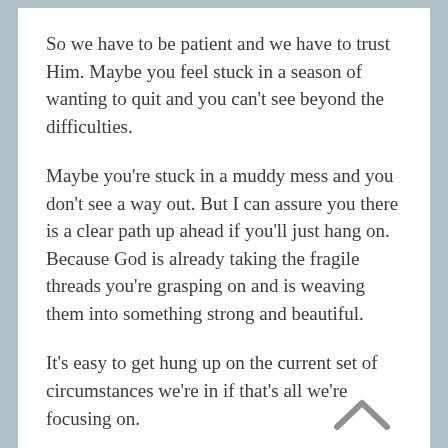So we have to be patient and we have to trust Him. Maybe you feel stuck in a season of wanting to quit and you can’t see beyond the difficulties.
Maybe you’re stuck in a muddy mess and you don’t see a way out. But I can assure you there is a clear path up ahead if you’ll just hang on. Because God is already taking the fragile threads you’re grasping on and is weaving them into something strong and beautiful.
It’s easy to get hung up on the current set of circumstances we’re in if that’s all we’re focusing on.
But when we take a step back and look at the big picture, we can see how God is weaving